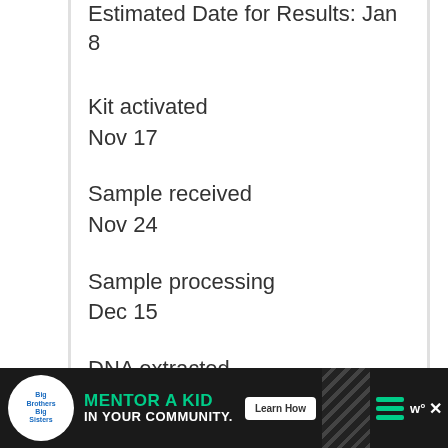Estimated Date for Results: Jan 8
Kit activated
Nov 17
Sample received
Nov 24
Sample processing
Dec 15
DNA extracted
[Figure (other): Advertisement banner for Big Brothers Big Sisters: 'Mentor a Kid in Your Community' with Learn How button]